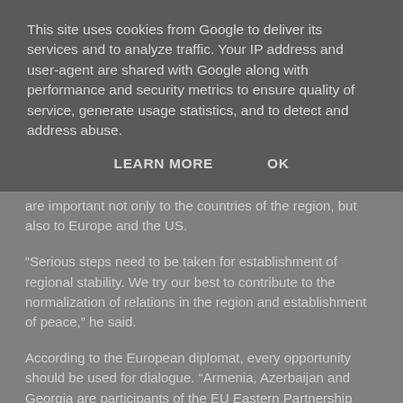This site uses cookies from Google to deliver its services and to analyze traffic. Your IP address and user-agent are shared with Google along with performance and security metrics to ensure quality of service, generate usage statistics, and to detect and address abuse.
LEARN MORE    OK
are important not only to the countries of the region, but also to Europe and the US.
“Serious steps need to be taken for establishment of regional stability. We try our best to contribute to the normalization of relations in the region and establishment of peace,” he said.
According to the European diplomat, every opportunity should be used for dialogue. “Armenia, Azerbaijan and Georgia are participants of the EU Eastern Partnership Program. They should use the opportunities provided by this structure to solve the existing problems. Regional development will be impossible without it,” Onno Simons said.